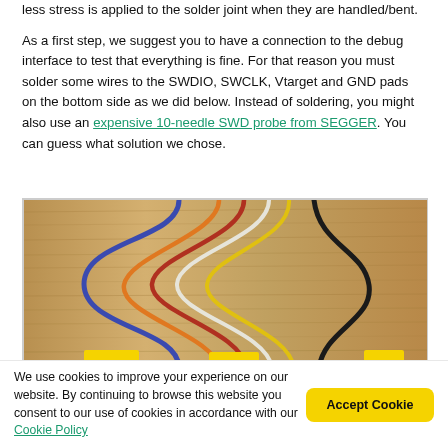less stress is applied to the solder joint when they are handled/bent.

As a first step, we suggest you to have a connection to the debug interface to test that everything is fine. For that reason you must solder some wires to the SWDIO, SWCLK, Vtarget and GND pads on the bottom side as we did below. Instead of soldering, you might also use an expensive 10-needle SWD probe from SEGGER. You can guess what solution we chose.
[Figure (photo): Photo of colored wires (blue, orange, red/brown, white, yellow, black) looped on a wooden surface, with yellow connector clips visible at the bottom edge of the image.]
We use cookies to improve your experience on our website. By continuing to browse this website you consent to our use of cookies in accordance with our Cookie Policy